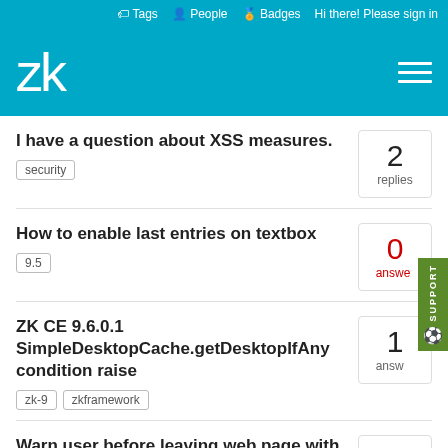Tags  People  Badges  Hi there! Please sign in
[Figure (logo): ZK logo in white on teal background with hamburger menu]
I have a question about XSS measures.
security | 2 replies
How to enable last entries on textbox
9.5 | 0 answers
ZK CE 9.6.0.1 SimpleDesktopCache.getDesktopIfAny condition raise
zk-9  zkframework | 1 answer
Warn user before leaving web page with unsaved changes
9 | 1 answer